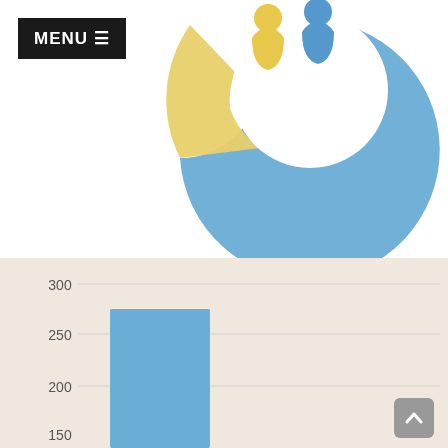[Figure (donut-chart): Partial donut chart visible at top of page with blue and yellow/gold segments, with two human figure icons in the center]
[Figure (other): MENU button with hamburger icon in top-left corner]
ENROLLMENT BY ETHNICITY
[Figure (bar-chart): Bar chart showing enrollment by ethnicity; y-axis labels visible: 300, 250, 200, 150; one blue bar visible reaching approximately 275]